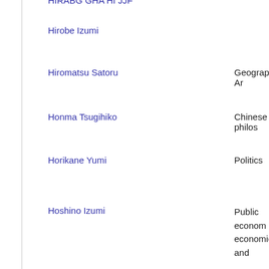Hirobe Izumi
Hiromatsu Satoru | Geography, Ar...
Honma Tsugihiko | Chinese philos...
Horikane Yumi | Politics
Hoshino Izumi | Public econom... economics and...
IIDA Yasuyuki | Economic poli...
Ida Masamichi | Politics, Politic...
Ikeda Isao | Japanese litera...
Ishikawa Masanobu | Sociology, Cul...
Ishiyama Noriko | Human geogra...
Ito Tsuyoshi | Politics
KAWASHIMA Shuichi | International re...
KIDERA Hajime